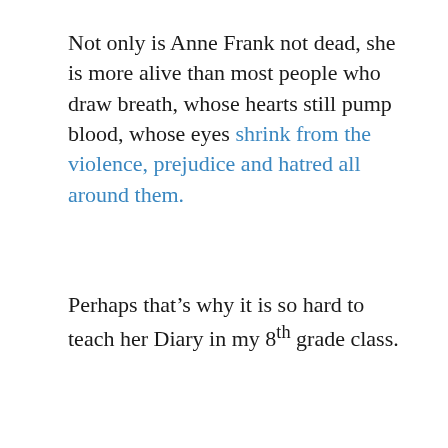Not only is Anne Frank not dead, she is more alive than most people who draw breath, whose hearts still pump blood, whose eyes shrink from the violence, prejudice and hatred all around them.
Perhaps that's why it is so hard to teach her Diary in my 8th grade class.